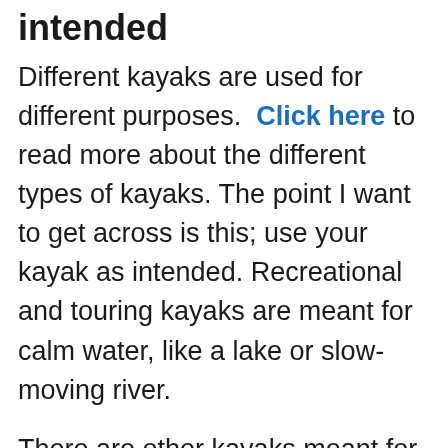intended
Different kayaks are used for different purposes.  Click here to read more about the different types of kayaks. The point I want to get across is this; use your kayak as intended. Recreational and touring kayaks are meant for calm water, like a lake or slow-moving river.
There are other kayaks meant for whitewater.  It's not a good idea to use a long, sleek touring kayak on a fast-moving river that requires a more